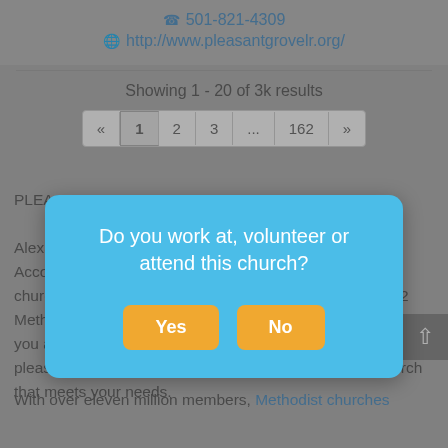501-821-4309
http://www.pleasantgrovelr.org/
Showing 1 - 20 of 3k results
« 1 2 3 ... 162 »
PLEASANT GROVE MISSIONARY BAPTIST CHURCH is located at 3500 W... Alexander. According to our data, there are approximately 17 churches... 9 Baptist churches, 0 Pentecostal churches, 2 Methodist churches, and 6 other denomination churches. If you are looking for a new church or just visiting Alexander, please browse through our church directory to find a church that meets your needs.

With over eleven million members, Methodist churches
[Figure (screenshot): Modal dialog asking 'Do you work at, volunteer or attend this church?' with Yes and No buttons]
Do you work at, volunteer or attend this church?
Yes
No